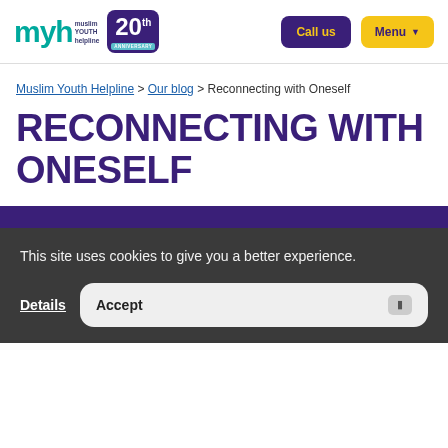[Figure (logo): Muslim Youth Helpline (myh) logo with 20th anniversary badge]
Call us
Menu
Muslim Youth Helpline > Our blog > Reconnecting with Oneself
RECONNECTING WITH ONESELF
This site uses cookies to give you a better experience.
Details
Accept